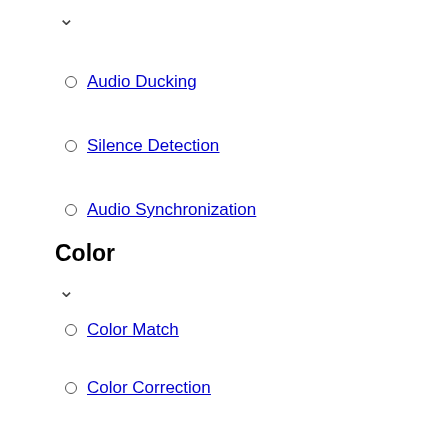Audio Ducking
Silence Detection
Audio Synchronization
Color
Color Match
Color Correction
ALL FEATURES
Guide
Learn
For Business
Branding Videos
eCommerce Videos
Disney D-Signed Skirt